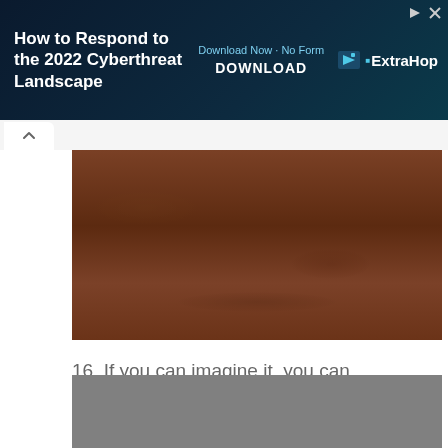[Figure (screenshot): Advertisement banner for ExtraHop: 'How to Respond to the 2022 Cyberthreat Landscape'. Dark teal background with white bold title on left, 'Download Now · No Form / DOWNLOAD' in center in cyan/white, ExtraHop logo on right. Play and X controls top-right.]
[Figure (photo): Brown textured surface, possibly leather or wood, cropped to show a horizontal strip.]
16. If you can imagine it, you can achieve it. If you can dream it, you can become it. - William Arthur Ward
[Figure (photo): Gray placeholder image at the bottom of the page.]